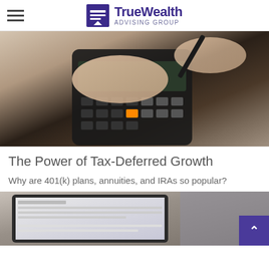TrueWealth Advising Group
[Figure (photo): Close-up photograph of hands using a calculator, one hand pressing keys and another holding a pen]
The Power of Tax-Deferred Growth
Why are 401(k) plans, annuities, and IRAs so popular?
[Figure (photo): Partial view of a tablet or digital device showing a financial document or spreadsheet]